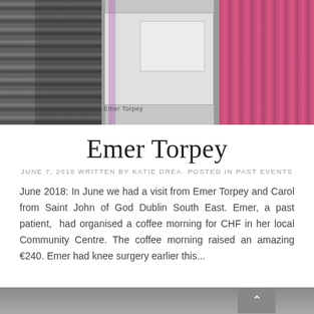[Figure (photo): Three people holding a large cheque for €240, dated 7th June 2018, made out to Children's Hospital Foundation. One person in striped top on the left, one woman in the centre holding the cheque and smiling, one person on the right in a pink skirt.]
Emer Torpey
JUNE 7, 2018 WRITTEN BY KATIE DREA. POSTED IN PAST EVENTS
June 2018: In June we had a visit from Emer Torpey and Carol from Saint John of God Dublin South East. Emer, a past patient,  had organised a coffee morning for CHF in her local Community Centre. The coffee morning raised an amazing €240. Emer had knee surgery earlier this...
[Figure (photo): Partial photo visible at the bottom of the page, cropped off.]